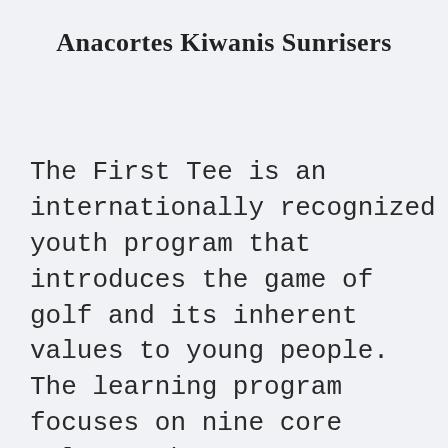Anacortes Kiwanis Sunrisers
The First Tee is an internationally recognized youth program that introduces the game of golf and its inherent values to young people. The learning program focuses on nine core values – honesty, integrity,